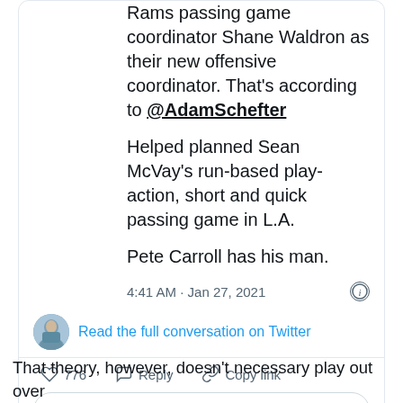[Figure (screenshot): Screenshot of a tweet card showing text about Shane Waldron being hired as offensive coordinator, citing @AdamSchefter. Includes timestamp 4:41 AM · Jan 27, 2021, a 'Read the full conversation on Twitter' link, action buttons (like 776, Reply, Copy link), and a 'Read 25 replies' button.]
That theory, however, doesn't necessary play out over